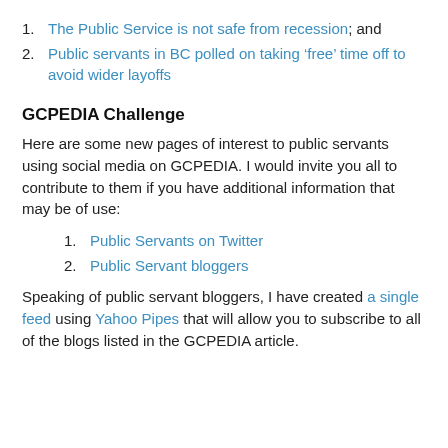The Public Service is not safe from recession; and
Public servants in BC polled on taking ‘free’ time off to avoid wider layoffs
GCPEDIA Challenge
Here are some new pages of interest to public servants using social media on GCPEDIA. I would invite you all to contribute to them if you have additional information that may be of use:
Public Servants on Twitter
Public Servant bloggers
Speaking of public servant bloggers, I have created a single feed using Yahoo Pipes that will allow you to subscribe to all of the blogs listed in the GCPEDIA article.